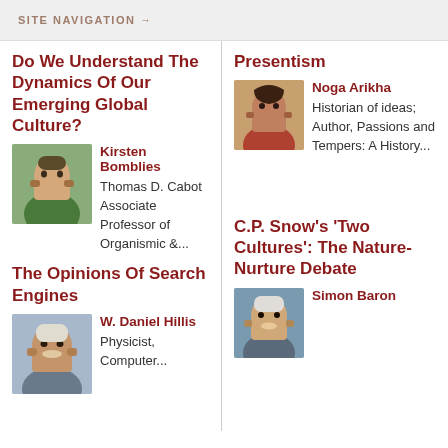SITE NAVIGATION →
Do We Understand The Dynamics Of Our Emerging Global Culture?
Kirsten Bomblies — Thomas D. Cabot Associate Professor of Organismic &...
The Opinions Of Search Engines
W. Daniel Hillis — Physicist, Computer...
Presentism
Noga Arikha — Historian of ideas; Author, Passions and Tempers: A History...
C.P. Snow's 'Two Cultures': The Nature-Nurture Debate
Simon Baron...